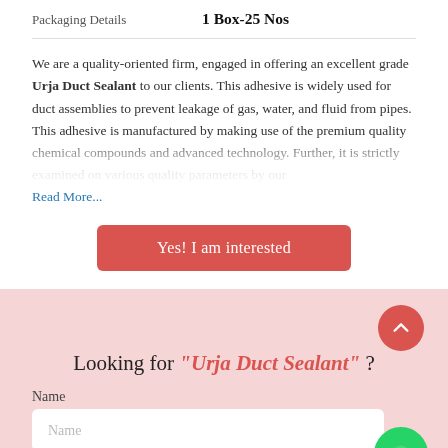| Packaging Details |  |
| --- | --- |
| Packaging Details | 1 Box-25 Nos |
We are a quality-oriented firm, engaged in offering an excellent grade Urja Duct Sealant to our clients. This adhesive is widely used for duct assemblies to prevent leakage of gas, water, and fluid from pipes. This adhesive is manufactured by making use of the premium quality chemical compounds and advanced technology. Further, it is strictly examined on various quality parameters by our
Read More...
Yes! I am interested
Looking for “Urja Duct Sealant” ?
Name
Name